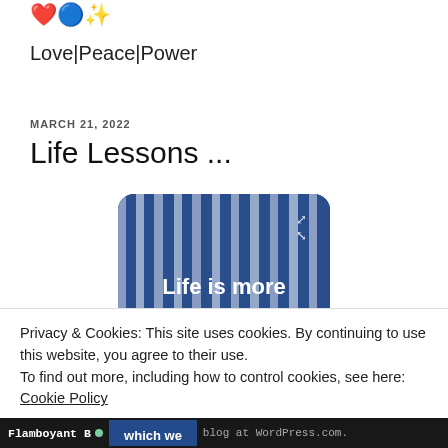❤️🔵✨
Love|Peace|Power
MARCH 21, 2022
Life Lessons ...
[Figure (photo): Blue and white striped fabric/textile image with white text reading 'Life is more about to']
Privacy & Cookies: This site uses cookies. By continuing to use this website, you agree to their use.
To find out more, including how to control cookies, see here: Cookie Policy
Close and accept
Flamboyant B • which we • blog at WordPress.com.